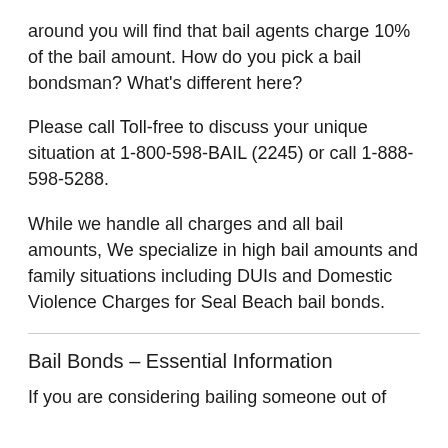around you will find that bail agents charge 10% of the bail amount. How do you pick a bail bondsman? What's different here?
Please call Toll-free to discuss your unique situation at 1-800-598-BAIL (2245) or call 1-888-598-5288.
While we handle all charges and all bail amounts, We specialize in high bail amounts and family situations including DUIs and Domestic Violence Charges for Seal Beach bail bonds.
Bail Bonds – Essential Information
If you are considering bailing someone out of